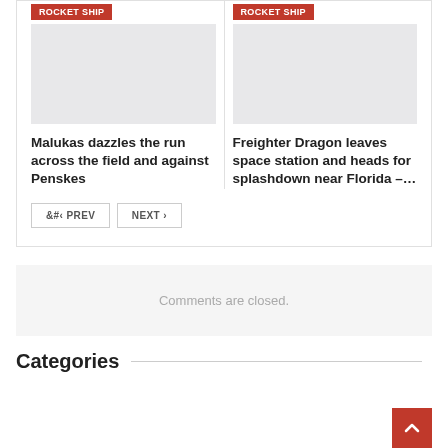[Figure (other): Gray placeholder image for article card 1 with ROCKET SHIP badge]
Malukas dazzles the run across the field and against Penskes
[Figure (other): Gray placeholder image for article card 2 with ROCKET SHIP badge]
Freighter Dragon leaves space station and heads for splashdown near Florida –…
‹ PREV   NEXT ›
Comments are closed.
Categories